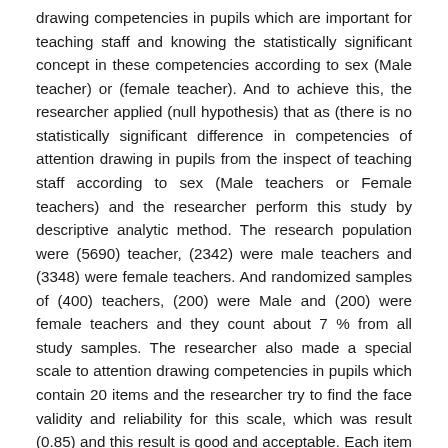drawing competencies in pupils which are important for teaching staff and knowing the statistically significant concept in these competencies according to sex (Male teacher) or (female teacher). And to achieve this, the researcher applied (null hypothesis) that as (there is no statistically significant difference in competencies of attention drawing in pupils from the inspect of teaching staff according to sex (Male teachers or Female teachers) and the researcher perform this study by descriptive analytic method. The research population were (5690) teacher, (2342) were male teachers and (3348) were female teachers. And randomized samples of (400) teachers, (200) were Male and (200) were female teachers and they count about 7 % from all study samples. The researcher also made a special scale to attention drawing competencies in pupils which contain 20 items and the researcher try to find the face validity and reliability for this scale, which was result (0.85) and this result is good and acceptable. Each item for this scale has question which had 3 options to answer from them (high, medium, low). And these options have been given (3,2,1) respectively. This study has been analyzed by SPSS and one sample T- test and two samples T – test was used. The results amplify that teaching staff has a good and acceptable level of attention drawing competencies from their students.